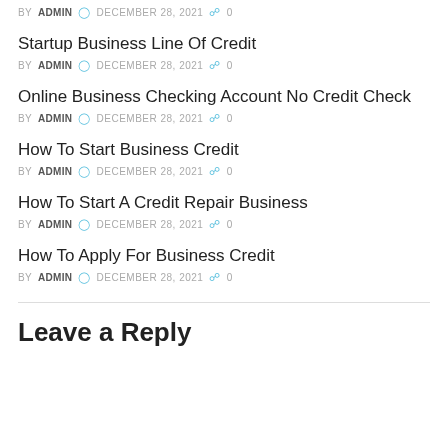BY ADMIN  DECEMBER 28, 2021  0
Startup Business Line Of Credit
BY ADMIN  DECEMBER 28, 2021  0
Online Business Checking Account No Credit Check
BY ADMIN  DECEMBER 28, 2021  0
How To Start Business Credit
BY ADMIN  DECEMBER 28, 2021  0
How To Start A Credit Repair Business
BY ADMIN  DECEMBER 28, 2021  0
How To Apply For Business Credit
BY ADMIN  DECEMBER 28, 2021  0
Leave a Reply